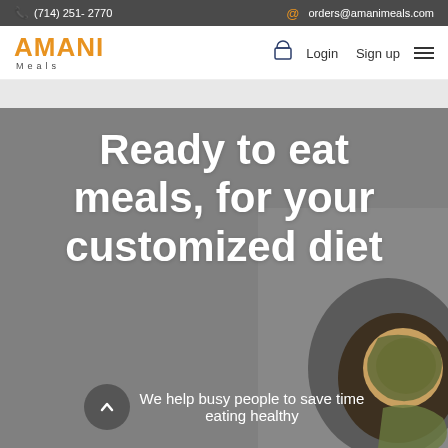(714) 251-2770  orders@amanimeals.com
[Figure (logo): AMANI Meals logo in orange with 'Meals' subtitle]
Login  Sign up
Ready to eat meals, for your customized diet
We help busy people to save time eating healthy
[Figure (photo): Food dish image on the right side of the hero section]